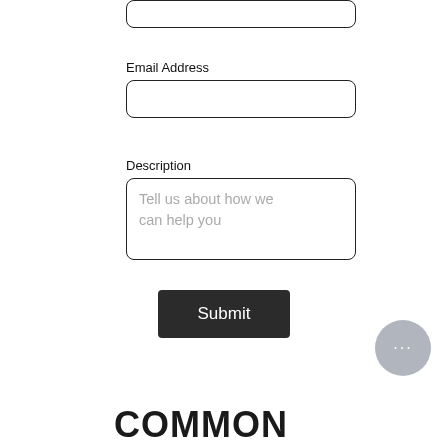[Figure (screenshot): Top portion of a form input field (text box), partially visible at the top of the page, with rounded corners and a dark border.]
Email Address
[Figure (screenshot): Email Address input field — empty text box with rounded corners and dark border.]
Description
[Figure (screenshot): Description textarea with placeholder text 'Tell us about how we can help you', rounded corners and dark border.]
[Figure (screenshot): Submit button — dark/black background with white 'Submit' text, slightly rounded corners.]
[Figure (screenshot): Chat bubble icon — circular grey button with ellipsis (three dots) symbol, positioned bottom-right.]
COMMON